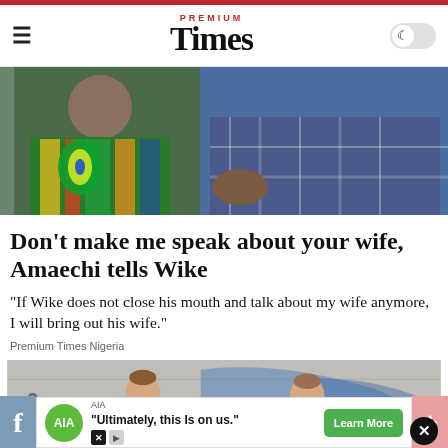[Figure (photo): Red top bar decoration]
Premium Times
[Figure (photo): Hero image showing people in colorful African print clothing and a man in blue plaid shirt]
Don’t make me speak about your wife, Amaechi tells Wike
“If Wike does not close his mouth and talk about my wife anymore, I will bring out his wife.”
Premium Times Nigeria
[Figure (photo): Second article image showing illustrated figures with graffiti background, with close button]
[Figure (other): Advertisement bar: AIA - Ultimately, this Is on us. Learn More button]